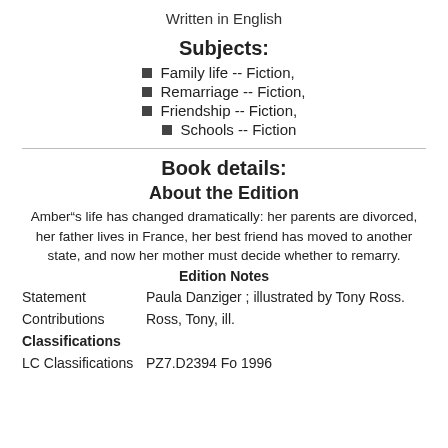Written in English
Subjects:
Family life -- Fiction,
Remarriage -- Fiction,
Friendship -- Fiction,
Schools -- Fiction
Book details:
About the Edition
Amber“s life has changed dramatically: her parents are divorced, her father lives in France, her best friend has moved to another state, and now her mother must decide whether to remarry.
Edition Notes
|  |  |
| --- | --- |
| Statement | Paula Danziger ; illustrated by Tony Ross. |
| Contributions | Ross, Tony, ill. |
| Classifications |  |
| LC Classifications | PZ7.D2394 Fo 1996 |